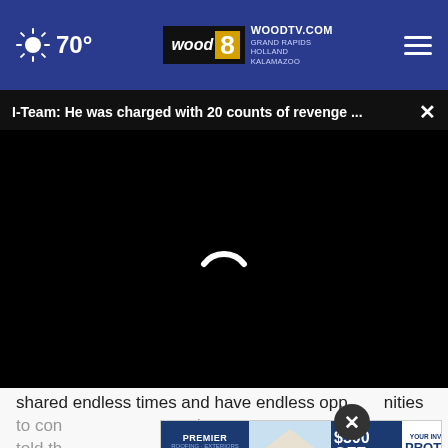70° WOODTV.COM GRAND RAPIDS HOLLAND KALAMAZOO wood 8
I-Team: He was charged with 20 counts of revenge ...
[Figure (screenshot): Black video player area with white loading spinner arc in the center]
shared endless times and have endless opportunities to con... end told th...
[Figure (infographic): Premier Roofing & Exteriors advertisement banner: $500 OFF All Exterior Projects. YOUR INVESTMENT IS PROTECTED by our Lifetime Workmanship Warranty.]